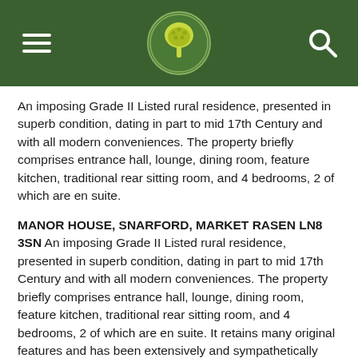[Figure (logo): Green circular logo with stylized tree/mushroom illustration, on dark green navigation bar with hamburger menu and search icon]
An imposing Grade II Listed rural residence, presented in superb condition, dating in part to mid 17th Century and with all modern conveniences. The property briefly comprises entrance hall, lounge, dining room, feature kitchen, traditional rear sitting room, and 4 bedrooms, 2 of which are en suite.
MANOR HOUSE, SNARFORD, MARKET RASEN LN8 3SN An imposing Grade II Listed rural residence, presented in superb condition, dating in part to mid 17th Century and with all modern conveniences. The property briefly comprises entrance hall, lounge, dining room, feature kitchen, traditional rear sitting room, and 4 bedrooms, 2 of which are en suite. It retains many original features and has been extensively and sympathetically restored externally, including repointing as well as roof and drainage repairs. Set in about 3 Acres of formal gardens and grass paddock the property also benefits from a range of detached outbuildings.
LOCATION The property is situated in a rural hamlet on a